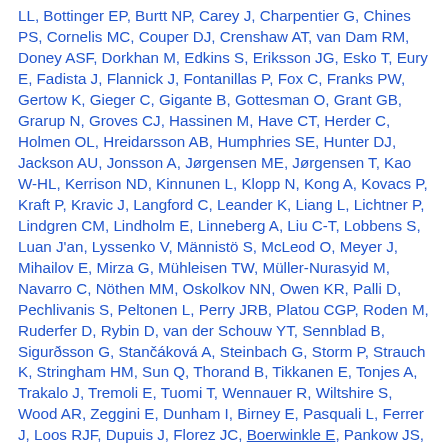LL, Bottinger EP, Burtt NP, Carey J, Charpentier G, Chines PS, Cornelis MC, Couper DJ, Crenshaw AT, van Dam RM, Doney ASF, Dorkhan M, Edkins S, Eriksson JG, Esko T, Eury E, Fadista J, Flannick J, Fontanillas P, Fox C, Franks PW, Gertow K, Gieger C, Gigante B, Gottesman O, Grant GB, Grarup N, Groves CJ, Hassinen M, Have CT, Herder C, Holmen OL, Hreidarsson AB, Humphries SE, Hunter DJ, Jackson AU, Jonsson A, Jørgensen ME, Jørgensen T, Kao W-HL, Kerrison ND, Kinnunen L, Klopp N, Kong A, Kovacs P, Kraft P, Kravic J, Langford C, Leander K, Liang L, Lichtner P, Lindgren CM, Lindholm E, Linneberg A, Liu C-T, Lobbens S, Luan J'an, Lyssenko V, Männistö S, McLeod O, Meyer J, Mihailov E, Mirza G, Mühleisen TW, Müller-Nurasyid M, Navarro C, Nöthen MM, Oskolkov NN, Owen KR, Palli D, Pechlivanis S, Peltonen L, Perry JRB, Platou CGP, Roden M, Ruderfer D, Rybin D, van der Schouw YT, Sennblad B, Sigurðsson G, Stančáková A, Steinbach G, Storm P, Strauch K, Stringham HM, Sun Q, Thorand B, Tikkanen E, Tonjes A, Trakalo J, Tremoli E, Tuomi T, Wennauer R, Wiltshire S, Wood AR, Zeggini E, Dunham I, Birney E, Pasquali L, Ferrer J, Loos RJF, Dupuis J, Florez JC, Boerwinkle E, Pankow JS, van Duijn C, Sijbrands E, Meigs JB, Hu FB, Thorsteinsdottir U, Stefansson K, Lakka TA, Rauramaa R, Stumvoll M, Pedersen NL, Lind L, Keinanen-Kiukaanniemi SM, Korpi-Hyövälti E, Saaristo TE,